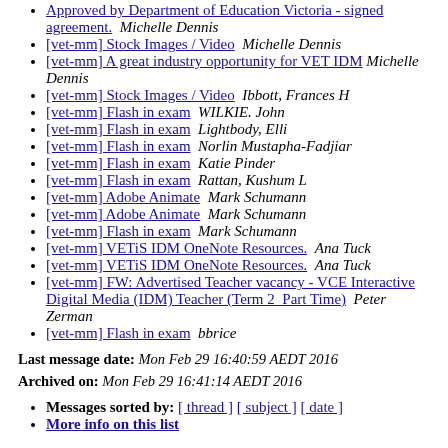Approved by Department of Education Victoria - signed agreement.   Michelle Dennis
[vet-mm] Stock Images / Video   Michelle Dennis
[vet-mm] A great industry opportunity for VET IDM  Michelle Dennis
[vet-mm] Stock Images / Video   Ibbott, Frances H
[vet-mm] Flash in exam   WILKIE. John
[vet-mm] Flash in exam   Lightbody, Elli
[vet-mm] Flash in exam   Norlin Mustapha-Fadjiar
[vet-mm] Flash in exam   Katie Pinder
[vet-mm] Flash in exam   Rattan, Kushum L
[vet-mm] Adobe Animate   Mark Schumann
[vet-mm] Adobe Animate   Mark Schumann
[vet-mm] Flash in exam   Mark Schumann
[vet-mm] VETiS IDM OneNote Resources.   Ana Tuck
[vet-mm] VETiS IDM OneNote Resources.   Ana Tuck
[vet-mm] FW: Advertised Teacher vacancy - VCE Interactive Digital Media (IDM) Teacher (Term 2  Part Time)   Peter Zerman
[vet-mm] Flash in exam   bbrice
Last message date: Mon Feb 29 16:40:59 AEDT 2016
Archived on: Mon Feb 29 16:41:14 AEDT 2016
Messages sorted by: [ thread ] [ subject ] [ date ]
More info on this list